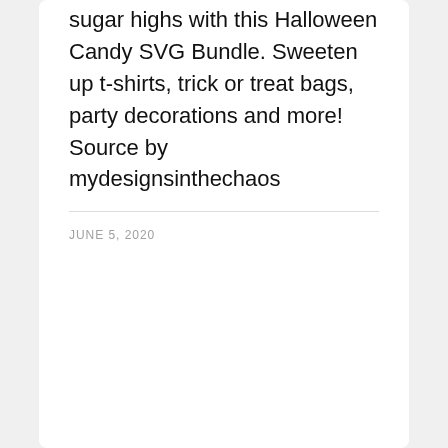sugar highs with this Halloween Candy SVG Bundle. Sweeten up t-shirts, trick or treat bags, party decorations and more! Source by mydesignsinthechaos
JUNE 5, 2020